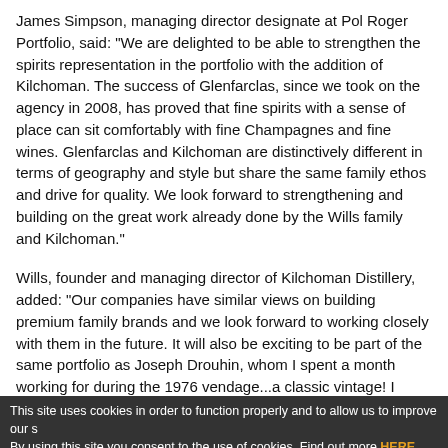James Simpson, managing director designate at Pol Roger Portfolio, said: "We are delighted to be able to strengthen the spirits representation in the portfolio with the addition of Kilchoman. The success of Glenfarclas, since we took on the agency in 2008, has proved that fine spirits with a sense of place can sit comfortably with fine Champagnes and fine wines. Glenfarclas and Kilchoman are distinctively different in terms of geography and style but share the same family ethos and drive for quality. We look forward to strengthening and building on the great work already done by the Wills family and Kilchoman."
Wills, founder and managing director of Kilchoman Distillery, added: "Our companies have similar views on building premium family brands and we look forward to working closely with them in the future. It will also be exciting to be part of the same portfolio as Joseph Drouhin, whom I spent a month working for during the 1976 vendage...a classic vintage! I would like to thank Gordon & MacPhail for helping to introduce Kilchoman to the market and look forward to them continuing to support the brand."
This site uses cookies in order to function properly and to allow us to improve our s By using this site you consent to the use of cookies. Find out more HERE